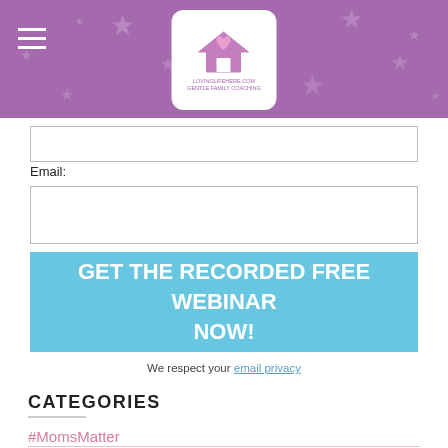[Figure (screenshot): Purple header with star decorations, hamburger menu icon on left, and a white rounded logo box with a house and heart icon in the center]
Email:
[Figure (screenshot): Email input text field (empty)]
GET THE RECORDED FREE WEBINAR NOW!
We respect your email privacy
CATEGORIES
#MomsMatter